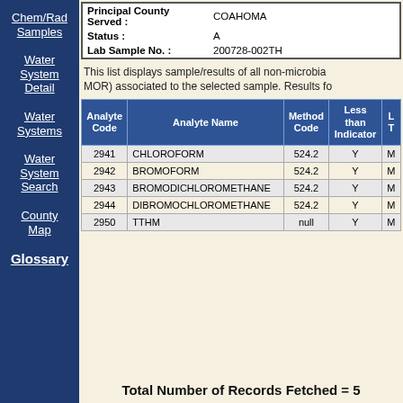| Field | Value |
| --- | --- |
| Principal County Served : | COAHOMA |
| Status : | A |
| Lab Sample No. : | 200728-002TH |
This list displays sample/results of all non-microbia... MOR) associated to the selected sample. Results fo...
| Analyte Code | Analyte Name | Method Code | Less than Indicator | L... T... |
| --- | --- | --- | --- | --- |
| 2941 | CHLOROFORM | 524.2 | Y | M |
| 2942 | BROMOFORM | 524.2 | Y | M |
| 2943 | BROMODICHLOROMETHANE | 524.2 | Y | M |
| 2944 | DIBROMOCHLOROMETHANE | 524.2 | Y | M |
| 2950 | TTHM | null | Y | M |
Total Number of Records Fetched = 5
Chem/Rad Samples
Water System Detail
Water Systems
Water System Search
County Map
Glossary